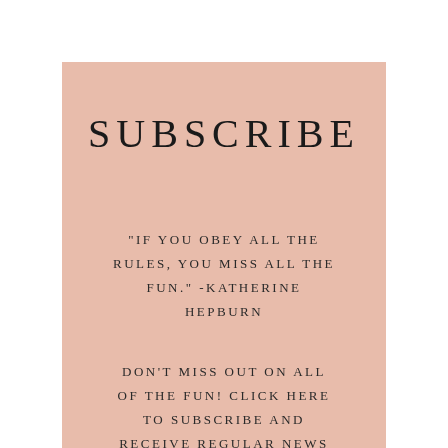SUBSCRIBE
"IF YOU OBEY ALL THE RULES, YOU MISS ALL THE FUN." -KATHERINE HEPBURN
DON'T MISS OUT ON ALL OF THE FUN! CLICK HERE TO SUBSCRIBE AND RECEIVE REGULAR NEWS